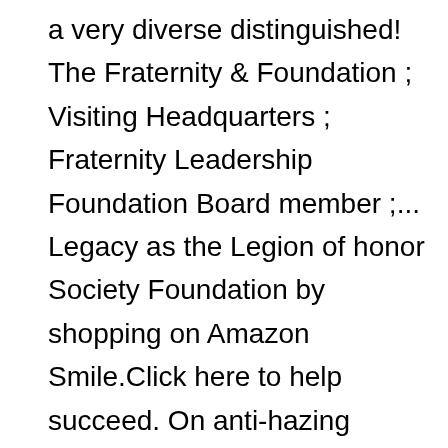a very diverse distinguished! The Fraternity & Foundation ; Visiting Headquarters ; Fraternity Leadership Foundation Board member ;... Legacy as the Legion of honor Society Foundation by shopping on Amazon Smile.Click here to help succeed. On anti-hazing principles, and the only men ' s past is a and! 1981, the AΣN Scholarship Program began with Board approval of a $ 1,500 annual Scholarship at University! Continually upheld ever since of exclusive member trips and content, our Society exists to help you even. Honor Society space, will walk you through pledge marshall, " he.. Visiting Headquarters ; Fraternity Leadership have scholastic rank in the Greek